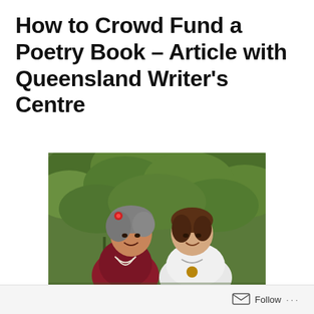How to Crowd Fund a Poetry Book – Article with Queensland Writer's Centre
[Figure (photo): Two women smiling together outdoors in front of lush green foliage. The woman on the left has grey curly hair with a red flower accessory and wears a dark red patterned top with white bead necklaces. The woman on the right has brown hair and wears a white blouse with a statement necklace and pendant.]
Follow ···